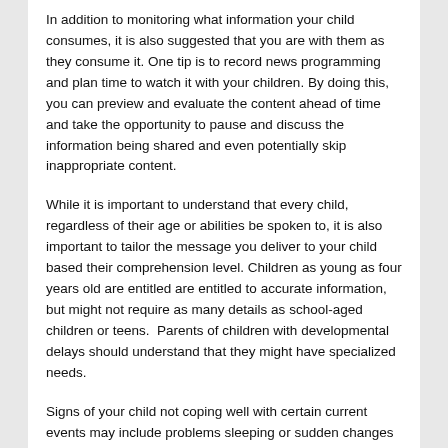In addition to monitoring what information your child consumes, it is also suggested that you are with them as they consume it. One tip is to record news programming and plan time to watch it with your children. By doing this, you can preview and evaluate the content ahead of time and take the opportunity to pause and discuss the information being shared and even potentially skip inappropriate content.
While it is important to understand that every child, regardless of their age or abilities be spoken to, it is also important to tailor the message you deliver to your child based their comprehension level. Children as young as four years old are entitled are entitled to accurate information, but might not require as many details as school-aged children or teens.  Parents of children with developmental delays should understand that they might have specialized needs.
Signs of your child not coping well with certain current events may include problems sleeping or sudden changes